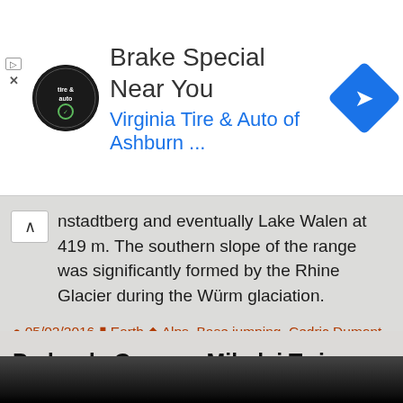[Figure (screenshot): Advertisement banner for 'Brake Special Near You' — Virginia Tire & Auto of Ashburn. Shows circular logo on left, ad text in center, blue diamond navigation icon on right. Play and close controls on far left edge.]
nstadtberg and eventually Lake Walen at 419 m. The southern slope of the range was significantly formed by the Rhine Glacier during the Würm glaciation.
05/02/2016  Earth  Alps, Base jumping, Cedric Dumont, Switzerland
Leave a comment
Pedra da Gavea – Mikolaj Twin
[Figure (photo): Bottom strip of a photo, mostly dark/black, beginning to appear at the bottom of the page.]